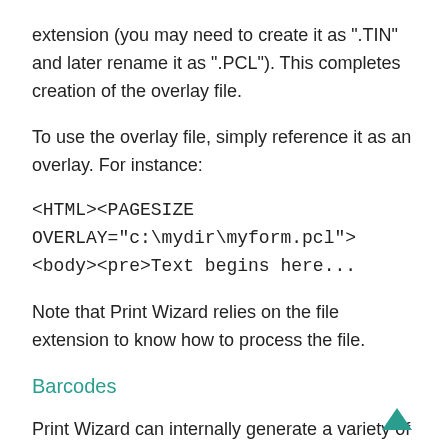extension (you may need to create it as ".TIN" and later rename it as ".PCL"). This completes creation of the overlay file.
To use the overlay file, simply reference it as an overlay. For instance:
<HTML><PAGESIZE OVERLAY="c:\mydir\myform.pcl"><body><pre>Text begins here...
Note that Print Wizard relies on the file extension to know how to process the file.
Barcodes
Print Wizard can internally generate a variety of barcodes, which can then be printed on nearly any